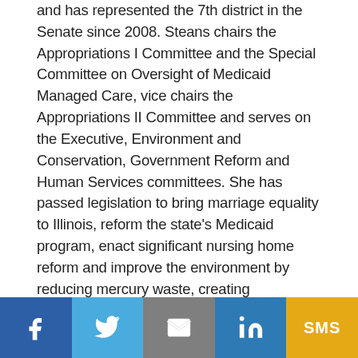and has represented the 7th district in the Senate since 2008. Steans chairs the Appropriations I Committee and the Special Committee on Oversight of Medicaid Managed Care, vice chairs the Appropriations II Committee and serves on the Executive, Environment and Conservation, Government Reform and Human Services committees. She has passed legislation to bring marriage equality to Illinois, reform the state's Medicaid program, enact significant nursing home reform and improve the environment by reducing mercury waste, creating commercial composting capabilities and banning microbeads. She also passed the Equal Rights Amendment in 2018, making Illinois the 37th state to ratify it and secured the passage of legislation that ensures Illinois remains a state where women can safely and legally exercise their right to choose.
[Figure (other): Social media share bar with buttons for Facebook, Twitter, Email, LinkedIn, and SMS]